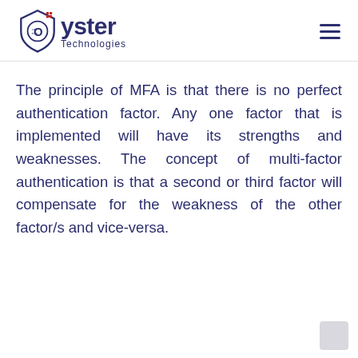Oyster Technologies
The principle of MFA is that there is no perfect authentication factor. Any one factor that is implemented will have its strengths and weaknesses. The concept of multi-factor authentication is that a second or third factor will compensate for the weakness of the other factor/s and vice-versa.